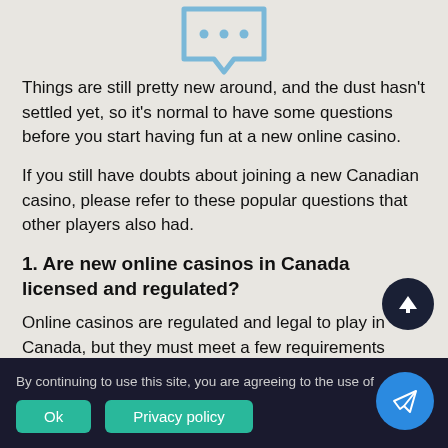[Figure (illustration): Chat bubble icon in light blue at the top center of the page]
Things are still pretty new around, and the dust hasn't settled yet, so it's normal to have some questions before you start having fun at a new online casino.
If you still have doubts about joining a new Canadian casino, please refer to these popular questions that other players also had.
1. Are new online casinos in Canada licensed and regulated?
Online casinos are regulated and legal to play in Canada, but they must meet a few requirements before they are licensed. Some of these requirements include testing games and machinery
By continuing to use this site, you are agreeing to the use of